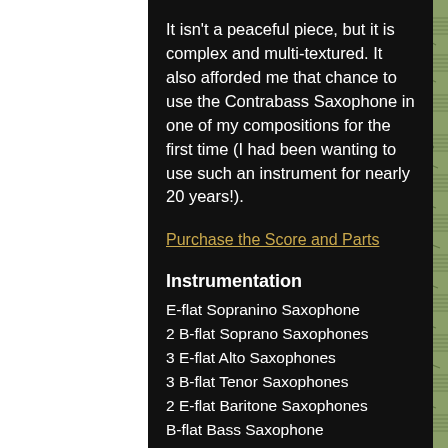It isn't a peaceful piece, but it is complex and multi-textured. It also afforded me that chance to use the Contrabass Saxophone in one of my compositions for the first time (I had been wanting to use such an instrument for nearly 20 years!).
Purchase the Score and Parts
Instrumentation
E-flat Sopranino Saxophone
2 B-flat Soprano Saxophones
3 E-flat Alto Saxophones
3 B-flat Tenor Saxophones
2 E-flat Baritone Saxophones
B-flat Bass Saxophone
E-flat Contrabass Saxophone